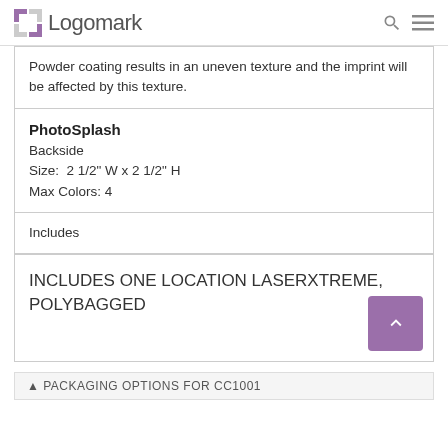Logomark
Powder coating results in an uneven texture and the imprint will be affected by this texture.
PhotoSplash
Backside
Size: 2 1/2" W x 2 1/2" H
Max Colors: 4
Includes
INCLUDES ONE LOCATION LASERXTREME, POLYBAGGED
PACKAGING OPTIONS FOR CC1001